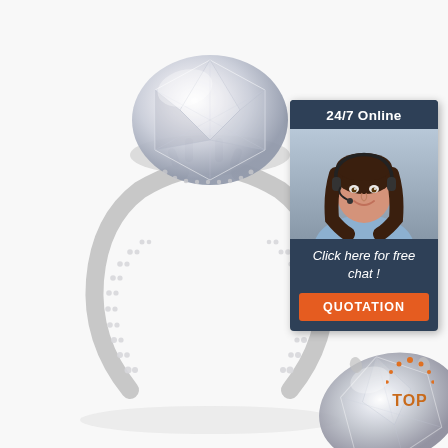[Figure (photo): Large diamond engagement ring with pave band on white background, with a second diamond stone shown in the foreground bottom-right]
[Figure (infographic): Chat widget panel with dark blue/slate background. Top section: '24/7 Online' header text in white. Middle: photo of smiling female customer service agent with headset. Bottom: italic text 'Click here for free chat !' and orange 'QUOTATION' button.]
[Figure (illustration): Orange 'TOP' badge with dots forming an arc above the text, in the bottom-right corner]